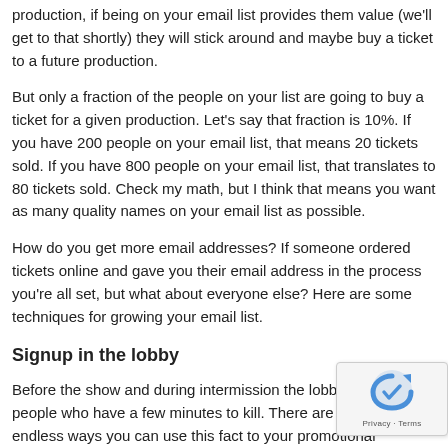production, if being on your email list provides them value (we'll get to that shortly) they will stick around and maybe buy a ticket to a future production.
But only a fraction of the people on your list are going to buy a ticket for a given production. Let's say that fraction is 10%. If you have 200 people on your email list, that means 20 tickets sold. If you have 800 people on your email list, that translates to 80 tickets sold. Check my math, but I think that means you want as many quality names on your email list as possible.
How do you get more email addresses? If someone ordered tickets online and gave you their email address in the process you're all set, but what about everyone else? Here are some techniques for growing your email list.
Signup in the lobby
Before the show and during intermission the lobby is full of people who have a few minutes to kill. There are almost endless ways you can use this fact to your promotional advantage, but the one I want